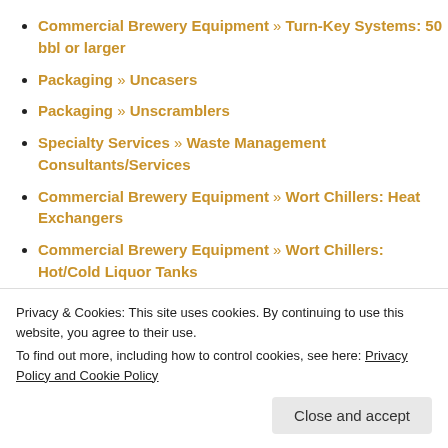Commercial Brewery Equipment » Turn-Key Systems: 50 bbl or larger
Packaging » Uncasers
Packaging » Unscramblers
Specialty Services » Waste Management Consultants/Services
Commercial Brewery Equipment » Wort Chillers: Heat Exchangers
Commercial Brewery Equipment » Wort Chillers: Hot/Cold Liquor Tanks
Commercial Brewery Equipment » Yeast Propagation
Privacy & Cookies: This site uses cookies. By continuing to use this website, you agree to their use. To find out more, including how to control cookies, see here: Privacy Policy and Cookie Policy